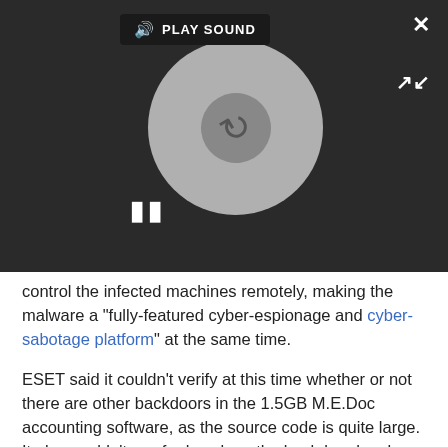[Figure (screenshot): Video player overlay showing a disc/CD graphic with a pause button, a 'PLAY SOUND' bar at the top with a speaker icon, a close (X) button top-right, and an expand button bottom-right. Dark background.]
control the infected machines remotely, making the malware a “fully-featured cyber-espionage and cyber-sabotage platform” at the same time.
ESET said it couldn’t verify at this time whether or not there are other backdoors in the 1.5GB M.E.Doc accounting software, as the source code is quite large. It also couldn’t say for how long the backdoor has been in use. The security company recommended M.E.Doc users to change their proxy and email passwords immediately.